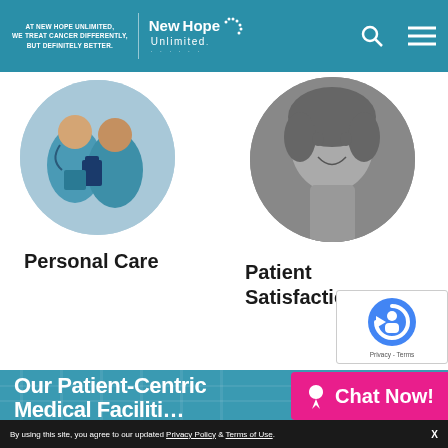AT NEW HOPE UNLIMITED, WE TREAT CANCER DIFFERENTLY, BUT DEFINITELY BETTER. | New Hope Unlimited
[Figure (photo): Circular photo of medical professionals in scrubs holding a clipboard]
Personal Care
[Figure (photo): Circular black and white photo of a smiling woman patient]
Patient Satisfaction
[Figure (photo): Background photo of a medical facility teal-tinted]
Our Patient-Centric Medical Faciliti…
Chat Now!
By using this site, you agree to our updated Privacy Policy & Terms of Use. X